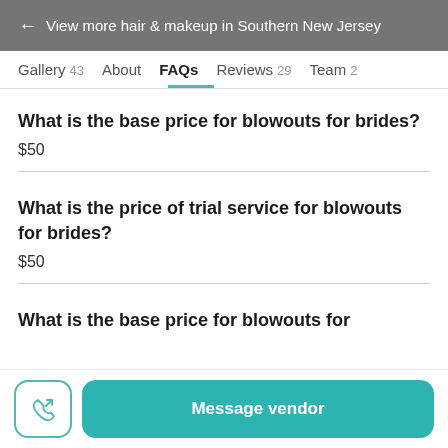← View more hair & makeup in Southern New Jersey
Gallery 43   About   FAQs   Reviews 29   Team 2
What is the base price for blowouts for brides?
$50
What is the price of trial service for blowouts for brides?
$50
What is the base price for blowouts for
Message vendor